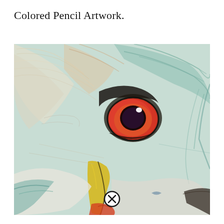Colored Pencil Artwork.
[Figure (illustration): Close-up colored pencil artwork of a bird's face, likely a duck or heron, featuring a prominent red and dark eye with white highlight, yellow beak curving downward, white and teal feathers with flowing pencil strokes, and orange/red coloring near the beak and lower area. A UI close button (X in circle) is overlaid near the bottom center.]